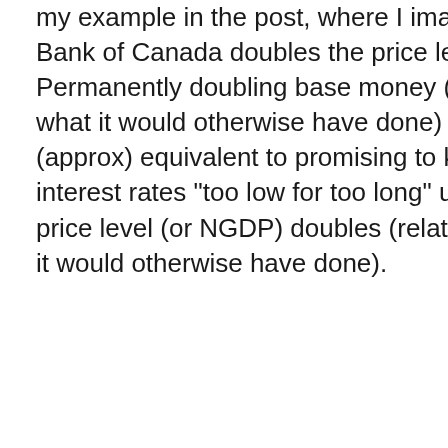my example in the post, where I imagine the Bank of Canada doubles the price level target. Permanently doubling base money (relative to what it would otherwise have done) should be (approx) equivalent to promising to keep interest rates "too low for too long" until the price level (or NGDP) doubles (relative to what it would otherwise have done).
But communicating that policy is a non-trivial exercise. In the 1930's, central banks communicated basically the same thing by going off the gold standard, and increasing the price of gold. But I don't